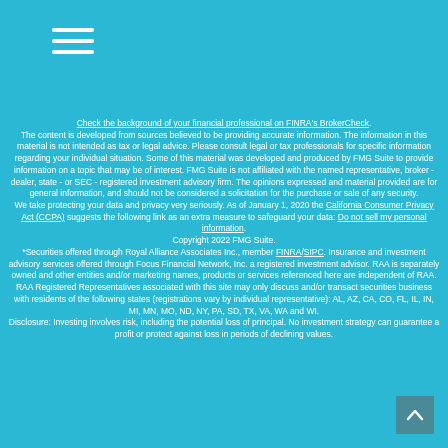[Figure (other): Hamburger menu icon (three horizontal white lines)]
Check the background of your financial professional on FINRA's BrokerCheck. The content is developed from sources believed to be providing accurate information. The information in this material is not intended as tax or legal advice. Please consult legal or tax professionals for specific information regarding your individual situation. Some of this material was developed and produced by FMG Suite to provide information on a topic that may be of interest. FMG Suite is not affiliated with the named representative, broker - dealer, state - or SEC - registered investment advisory firm. The opinions expressed and material provided are for general information, and should not be considered a solicitation for the purchase or sale of any security. We take protecting your data and privacy very seriously. As of January 1, 2020 the California Consumer Privacy Act (CCPA) suggests the following link as an extra measure to safeguard your data: Do not sell my personal information. Copyright 2022 FMG Suite. *Securities offered through Royal Alliance Associates Inc., member FINRA/SIPC. Insurance and investment advisory services offered through Focus Financial Network, Inc. a registered investment advisor. RAA is separately owned and other entities and/or marketing names, products or services referenced here are independent of RAA. RAA Registered Representatives associated with this site may only discuss and/or transact securities business with residents of the following states (registrations vary by individual representative): AL, AZ, CA, CO, FL, IL, IN, MI, MN, MO, ND, NY, PA, SD, TX, VA, WA and WI. Disclosure: Investing involves risk, including the potential loss of principal. No investment strategy can guarantee a profit or protect against loss in periods of declining values.